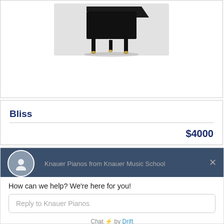[Figure (photo): Partial view of a black grand piano on a light gray background, showing legs and base of the instrument]
Bliss
$4000
Knauer Pianos from Knauer Music School
How can we help? We're here for you!
Reply to Knauer Pianos
Chat ⚡ by Drift